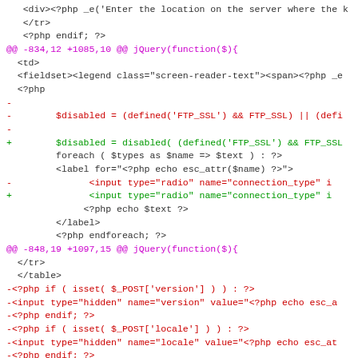[Figure (screenshot): A code diff view showing PHP/HTML code with diff markers. Lines with - (removed) shown in red, lines with + (added) shown in green, and diff headers shown in magenta/purple. Context lines shown in dark/black text on white background.]